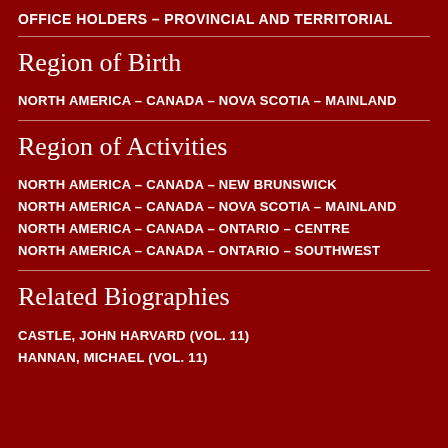OFFICE HOLDERS – PROVINCIAL AND TERRITORIAL
Region of Birth
NORTH AMERICA – CANADA – NOVA SCOTIA – MAINLAND
Region of Activities
NORTH AMERICA – CANADA – NEW BRUNSWICK
NORTH AMERICA – CANADA – NOVA SCOTIA – MAINLAND
NORTH AMERICA – CANADA – ONTARIO – CENTRE
NORTH AMERICA – CANADA – ONTARIO – SOUTHWEST
Related Biographies
CASTLE, JOHN HARVARD (VOL. 11)
HANNAN, MICHAEL (VOL. 11)